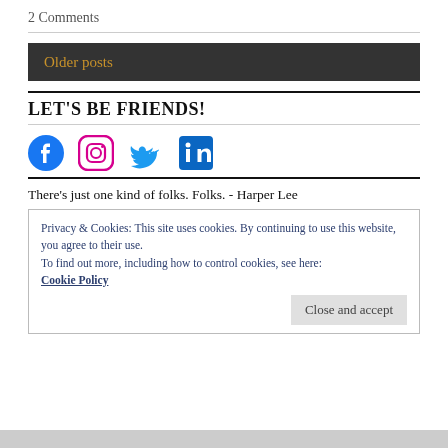2 Comments
Older posts
LET'S BE FRIENDS!
[Figure (illustration): Social media icons: Facebook, Instagram, Twitter, LinkedIn]
There's just one kind of folks. Folks. - Harper Lee
Privacy & Cookies: This site uses cookies. By continuing to use this website, you agree to their use. To find out more, including how to control cookies, see here: Cookie Policy
Close and accept